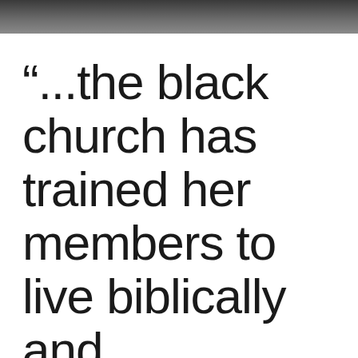[Figure (photo): Partial photo strip at the top of the page showing a dark/grey background, appears to be a cropped photograph.]
“...the black church has trained her members to live biblically and [text continues below]